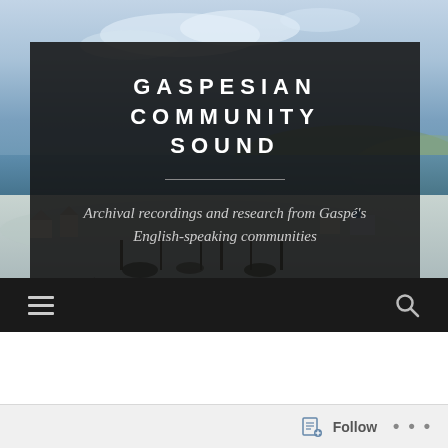[Figure (photo): Winter landscape photo of Gaspé region with snowy fields, bare trees, water in background, and cloudy sky. Serves as hero background image for a website header.]
GASPESIAN COMMUNITY SOUND
Archival recordings and research from Gaspé's English-speaking communities
[Figure (other): Navigation bar with hamburger menu icon on the left and search (magnifying glass) icon on the right, dark background.]
[Figure (other): WordPress follow bar at the bottom with follow icon and 'Follow' button and '...' options.]